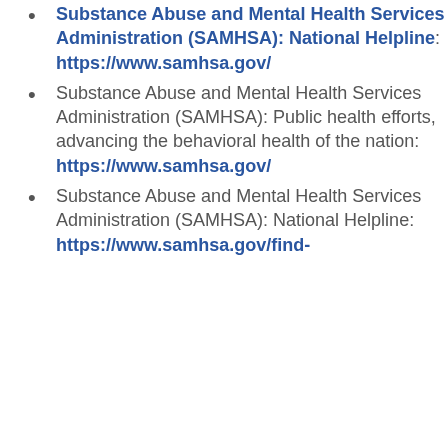Substance Abuse and Mental Health Services Administration (SAMHSA): National Helpline: https://www.samhsa.gov/
Substance Abuse and Mental Health Services Administration (SAMHSA): Public health efforts, advancing the behavioral health of the nation: https://www.samhsa.gov/
Substance Abuse and Mental Health Services Administration (SAMHSA): National Helpline: https://www.samhsa.gov/find-